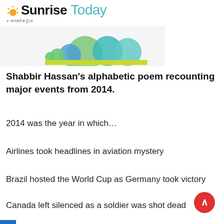The Sunrise Today
[Figure (illustration): Decorative banner with colorful overlapping circles (green, teal, blue) on a light background]
Shabbir Hassan's alphabetic poem recounting major events from 2014.
2014 was the year in which…
Airlines took headlines in aviation mystery
Brazil hosted the World Cup as Germany took victory
Canada left silenced as a soldier was shot dead